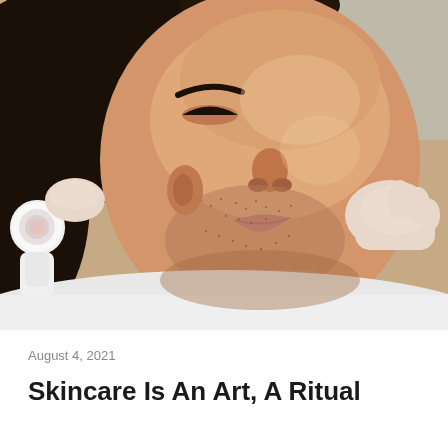[Figure (photo): A man lying back with eyes closed receiving a facial treatment. A white electronic skincare device is being applied to his cheek/jaw area by a gloved hand, while another gloved hand supports his neck. The man has dark hair and stubble. He is wearing or covered by a white cloth.]
August 4, 2021
Skincare Is An Art, A Ritual